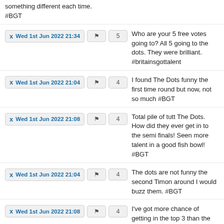something different each time. #BGT
Wed 1st Jun 2022 21:34 | 5 | Who are your 5 free votes going to? All 5 going to the dots. They were brilliant. #britainsgottalent
Wed 1st Jun 2022 21:04 | 4 | I found The Dots funny the first time round but now, not so much #BGT
Wed 1st Jun 2022 21:08 | 4 | Total pile of tutt The Dots. How did they ever get in to the semi finals! Seen more talent in a good fish bowl! #BGT
Wed 1st Jun 2022 21:04 | 4 | The dots are not funny the second Timon around I would buzz them. #BGT
Wed 1st Jun 2022 21:08 | 4 | I've got more chance of getting in the top 3 than the Dots and I'm not even there. #BritainsGotTalent
Wed 1st Jun 2022 21:08 | 4 | No one dare say they were funny, the fuck did i just witness? Please for the love of well everything, do not put the dots through. #BritainsGotTalent
Wed 1st Jun 2022 21:08 | 4 | I liked the dots but their audition was better I think #BGT